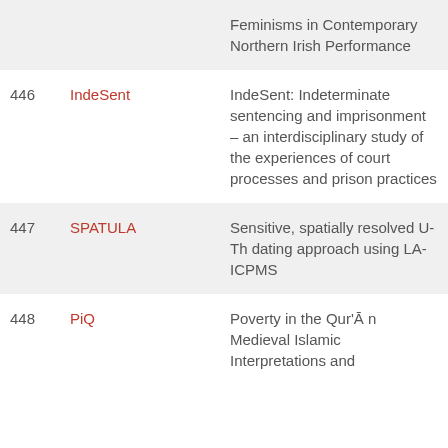| # | Short name | Title |
| --- | --- | --- |
|  |  | Feminisms in Contemporary Northern Irish Performance |
| 446 | IndeSent | IndeSent: Indeterminate sentencing and imprisonment – an interdisciplinary study of the experiences of court processes and prison practices |
| 447 | SPATULA | Sensitive, spatially resolved U-Th dating approach using LA-ICPMS |
| 448 | PiQ | Poverty in the Qur'Ā n Medieval Islamic Interpretations and |